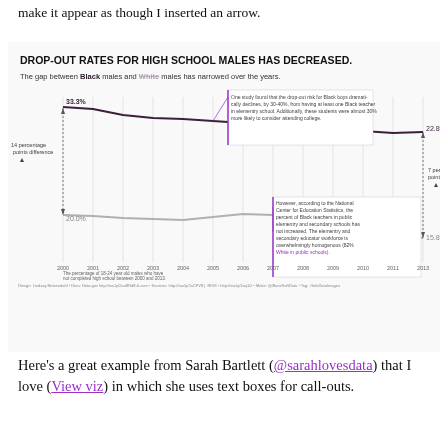make it appear as though I inserted an arrow.
[Figure (line-chart): Line chart showing drop-out rates for Black and White high school males from 2000 to 2013. Black males start at 33.3% and end at 22.8%; White males start at 20.0% and end at 15.8%. A 14 percentage points difference is noted at start, narrowing to 7 percentage points difference at end.]
Here’s a great example from Sarah Bartlett (@sarahlovesdata) that I love (View viz) in which she uses text boxes for call-outs.